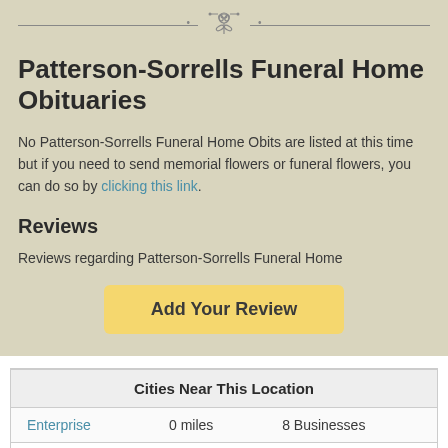[Figure (illustration): Decorative header with rose icon and ornamental lines]
Patterson-Sorrells Funeral Home Obituaries
No Patterson-Sorrells Funeral Home Obits are listed at this time but if you need to send memorial flowers or funeral flowers, you can do so by clicking this link.
Reviews
Reviews regarding Patterson-Sorrells Funeral Home
Add Your Review
| Cities Near This Location |  |  |
| --- | --- | --- |
| Enterprise | 0 miles | 8 Businesses |
| Daleville | 7 miles | 1 Business |